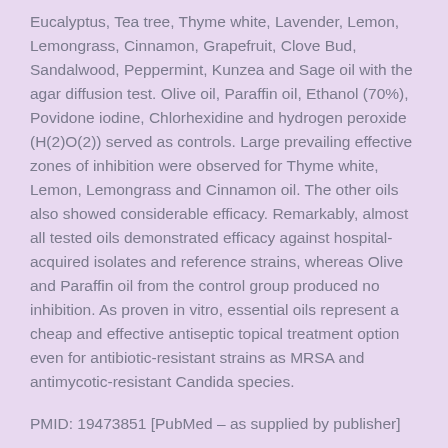Eucalyptus, Tea tree, Thyme white, Lavender, Lemon, Lemongrass, Cinnamon, Grapefruit, Clove Bud, Sandalwood, Peppermint, Kunzea and Sage oil with the agar diffusion test. Olive oil, Paraffin oil, Ethanol (70%), Povidone iodine, Chlorhexidine and hydrogen peroxide (H(2)O(2)) served as controls. Large prevailing effective zones of inhibition were observed for Thyme white, Lemon, Lemongrass and Cinnamon oil. The other oils also showed considerable efficacy. Remarkably, almost all tested oils demonstrated efficacy against hospital-acquired isolates and reference strains, whereas Olive and Paraffin oil from the control group produced no inhibition. As proven in vitro, essential oils represent a cheap and effective antiseptic topical treatment option even for antibiotic-resistant strains as MRSA and antimycotic-resistant Candida species.
PMID: 19473851 [PubMed – as supplied by publisher]
Filed Under: Supportive/Affinity Therapies